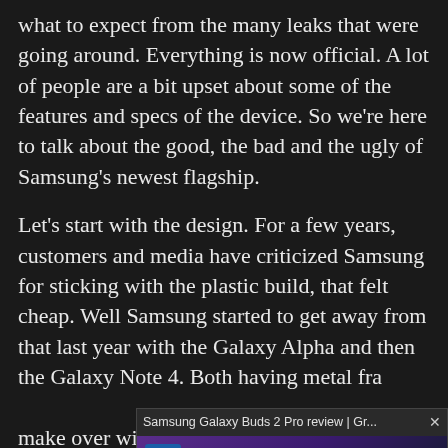what to expect from the many leaks that were going around. Everything is now official. A lot of people are a bit upset about some of the features and specs of the device. So we’re here to talk about the good, the bad and the ugly of Samsung’s newest flagship.
Let’s start with the design. For a few years, customers and media have criticized Samsung for sticking with the plastic build, that felt cheap. Well Samsung started to get away from that last year with the Galaxy Alpha and then the Galaxy Note 4. Both having metal fra[mes]. [A total make over with the G...] earlier this year. Whe[n...] back and an aluminu[m...] looker. In fact, I’m sti[ll...] green back that Sam[...] Barcelona. Now with
[Figure (screenshot): Video overlay showing Samsung Galaxy Buds 2 Pro review from Digital Trends, with purple/blue background, bold white text reading GALAXY BUDS 2 PRO, a muted speaker icon button, the Digital Trends logo, and a man (presenter) visible on the right side.]